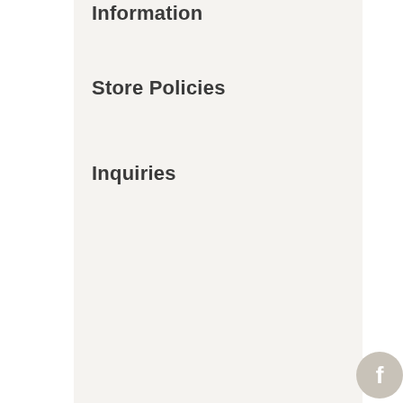Information
Store Policies
Inquiries